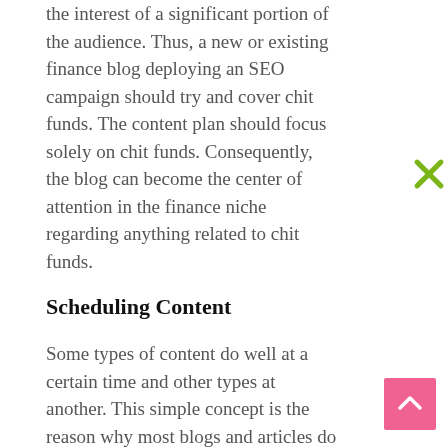the interest of a significant portion of the audience. Thus, a new or existing finance blog deploying an SEO campaign should try and cover chit funds. The content plan should focus solely on chit funds. Consequently, the blog can become the center of attention in the finance niche regarding anything related to chit funds.
Scheduling Content
Some types of content do well at a certain time and other types at another. This simple concept is the reason why most blogs and articles do not reach their full potential. Some topics are naturally suited to be published and promoted within a certain time-frame.
For example, writing a blog on a different kind of lemonade is likely to do well in